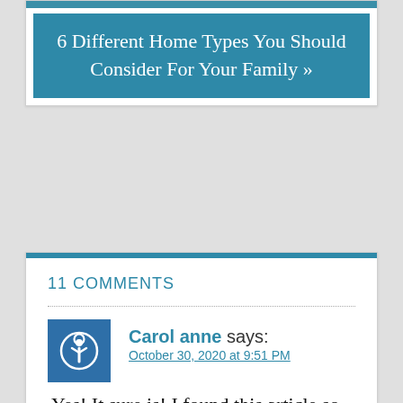6 Different Home Types You Should Consider For Your Family »
11 COMMENTS
Carol anne says:
October 30, 2020 at 9:51 PM
Yes! It sure is! I found this article so helpful Melinda! Thanks a lot for sharing it!...